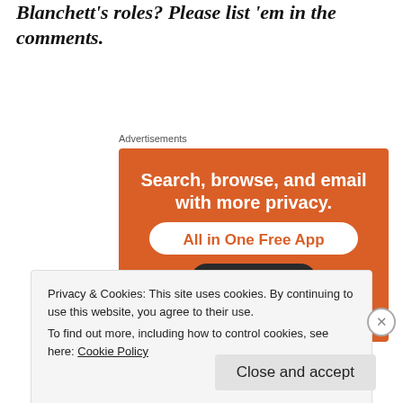Blanchett's roles? Please list 'em in the comments.
Advertisements
[Figure (illustration): DuckDuckGo advertisement banner with orange background. Text: 'Search, browse, and email with more privacy. All in One Free App'. Shows a smartphone with the DuckDuckGo duck logo.]
Privacy & Cookies: This site uses cookies. By continuing to use this website, you agree to their use.
To find out more, including how to control cookies, see here: Cookie Policy
Close and accept